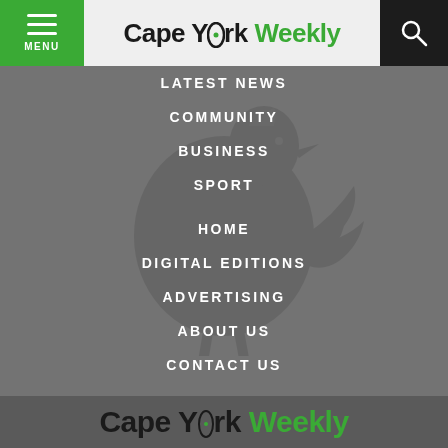MENU | Cape York Weekly | Search
LATEST NEWS
COMMUNITY
BUSINESS
SPORT
HOME
DIGITAL EDITIONS
ADVERTISING
ABOUT US
CONTACT US
Cape York Weekly